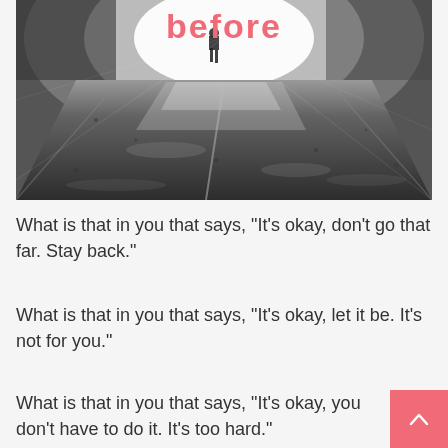[Figure (photo): Black and white photograph of a wet road/asphalt with a person walking in the distance toward a bright light. The word 'before' appears in coral/pink text overlaid at the top of the image.]
What is that in you that says, "It's okay, don't go that far. Stay back."
What is that in you that says, "It's okay, let it be. It's not for you."
What is that in you that says, "It's okay, you don't have to do it. It's too hard."